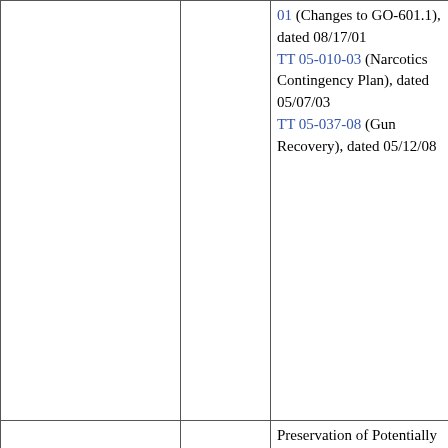|  |  | 01 (Changes to GO-601.1), dated 08/17/01
TT 05-010-03 (Narcotics Contingency Plan), dated 05/07/03
TT 05-037-08 (Gun Recovery), dated 05/12/08 |
|  |  | Preservation of Potentially Discoverable Materials |